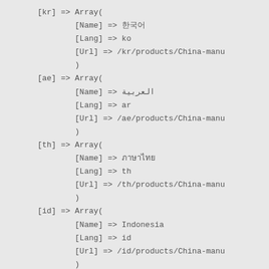[kr] => Array(
        [Name] => 한국어
        [Lang] => ko
        [Url] => /kr/products/China-manu
        )
[ae] => Array(
        [Name] => العربية
        [Lang] => ar
        [Url] => /ae/products/China-manu
        )
[th] => Array(
        [Name] => ภาษาไทย
        [Lang] => th
        [Url] => /th/products/China-manu
        )
[id] => Array(
        [Name] => Indonesia
        [Lang] => id
        [Url] => /id/products/China-manu
        )
)
[Web_Alternate] => Array(
    [x-default] => https://www.china-disposa